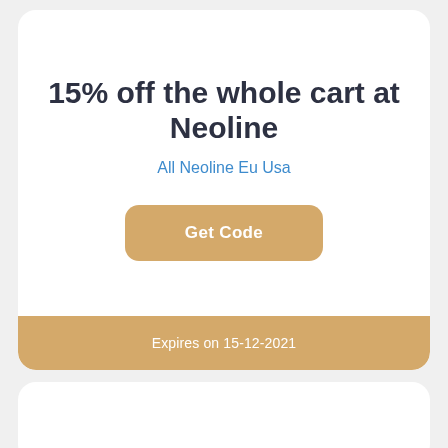15% off the whole cart at Neoline
All Neoline Eu Usa
Get Code
Expires on 15-12-2021